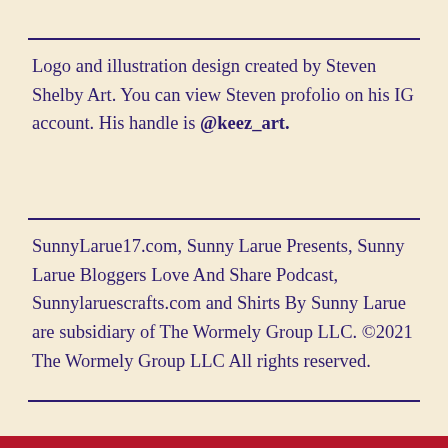Logo and illustration design created by Steven Shelby Art. You can view Steven profolio on his IG account. His handle is @keez_art.
SunnyLarue17.com, Sunny Larue Presents, Sunny Larue Bloggers Love And Share Podcast, Sunnylaruescrafts.com and Shirts By Sunny Larue are subsidiary of The Wormely Group LLC. ©2021 The Wormely Group LLC All rights reserved.